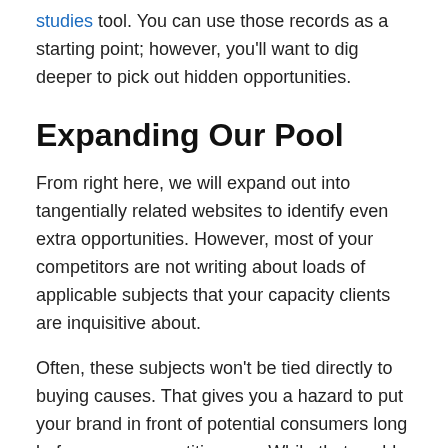studies tool. You can use those records as a starting point; however, you'll want to dig deeper to pick out hidden opportunities.
Expanding Our Pool
From right here, we will expand out into tangentially related websites to identify even extra opportunities. However, most of your competitors are not writing about loads of applicable subjects that your capacity clients are inquisitive about.
Often, these subjects won't be tied directly to buying causes. That gives you a hazard to put your brand in front of potential consumers long before your competition can. While that could make it seem counterintuitive to target those types of topics, it gives a powerful opportunity because it enables you to reach people earlier within the